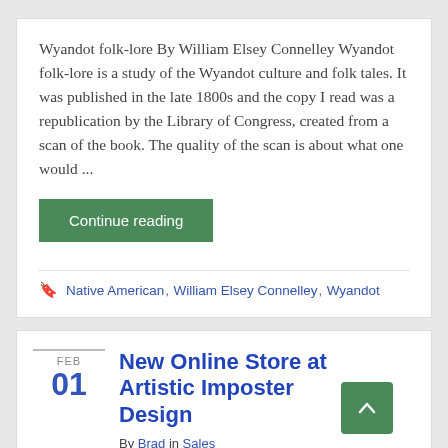Wyandot folk-lore By William Elsey Connelley Wyandot folk-lore is a study of the Wyandot culture and folk tales. It was published in the late 1800s and the copy I read was a republication by the Library of Congress, created from a scan of the book. The quality of the scan is about what one would ...
Continue reading
Native American, William Elsey Connelley, Wyandot
FEB 01
New Online Store at Artistic Imposter Design
By Brad in Sales